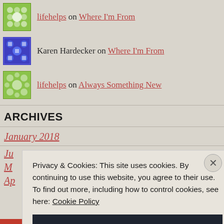lifehelps on Where I'm From
Karen Hardecker on Where I'm From
lifehelps on Always Something New
ARCHIVES
January 2018
Ju[ne/ly...]
M[arch/ay...]
Ap[ril...]
Privacy & Cookies: This site uses cookies. By continuing to use this website, you agree to their use. To find out more, including how to control cookies, see here: Cookie Policy
Close and accept